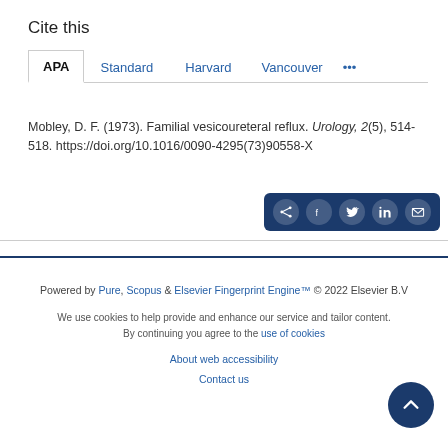Cite this
Mobley, D. F. (1973). Familial vesicoureteral reflux. Urology, 2(5), 514-518. https://doi.org/10.1016/0090-4295(73)90558-X
Powered by Pure, Scopus & Elsevier Fingerprint Engine™ © 2022 Elsevier B.V

We use cookies to help provide and enhance our service and tailor content. By continuing you agree to the use of cookies

About web accessibility

Contact us